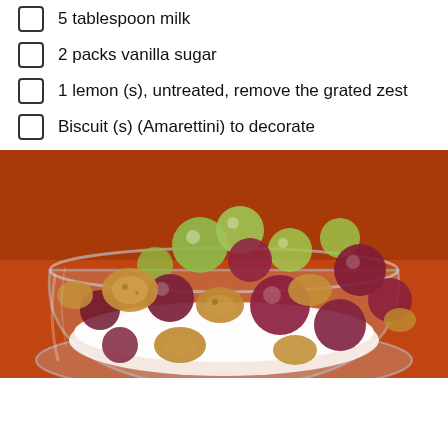5 tablespoon milk
2 packs vanilla sugar
1 lemon (s), untreated, remove the grated zest
Biscuit (s) (Amarettini) to decorate
[Figure (photo): A glass bowl filled with white cream/quark, topped with green and red/purple grapes and amarettini biscuits, placed on an orange surface.]